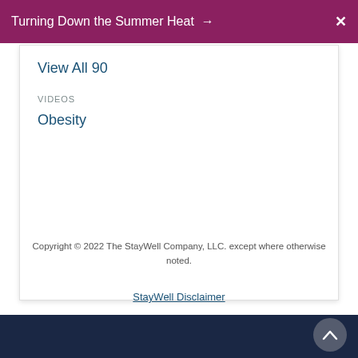Turning Down the Summer Heat →
View All 90
VIDEOS
Obesity
Copyright © 2022 The StayWell Company, LLC. except where otherwise noted.
StayWell Disclaimer